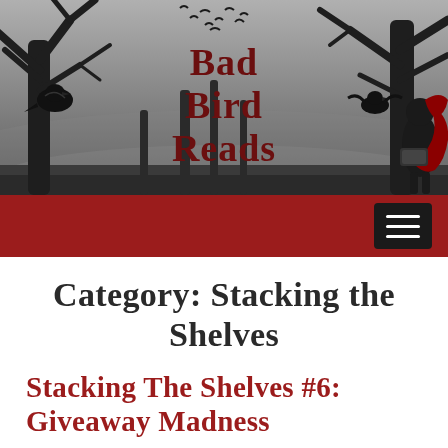[Figure (illustration): Bad Bird Reads blog header illustration: dark gothic scene with bare trees, silhouette crows/ravens, and a red-haired woman reading, with text 'Bad Bird Reads' in dark red gothic font]
Bad Bird Reads
[Figure (other): Red navigation bar with black hamburger menu button (three white horizontal lines)]
Category: Stacking the Shelves
Stacking The Shelves #6: Giveaway Madness